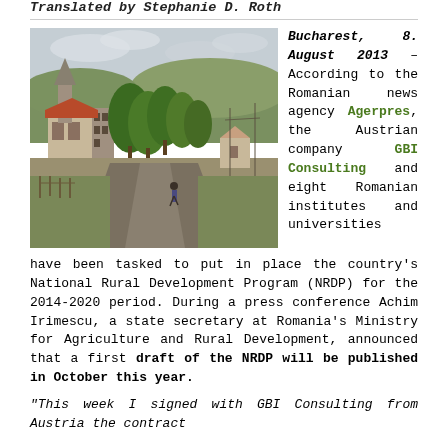Translated by Stephanie D. Roth
[Figure (photo): Rural Romanian village scene with a church steeple, stone tower, trees, and a dirt road with a person walking]
Bucharest, 8. August 2013 – According to the Romanian news agency Agerpres, the Austrian company GBI Consulting and eight Romanian institutes and universities have been tasked to put in place the country's National Rural Development Program (NRDP) for the 2014-2020 period. During a press conference Achim Irimescu, a state secretary at Romania's Ministry for Agriculture and Rural Development, announced that a first draft of the NRDP will be published in October this year.
"This week I signed with GBI Consulting from Austria the contract